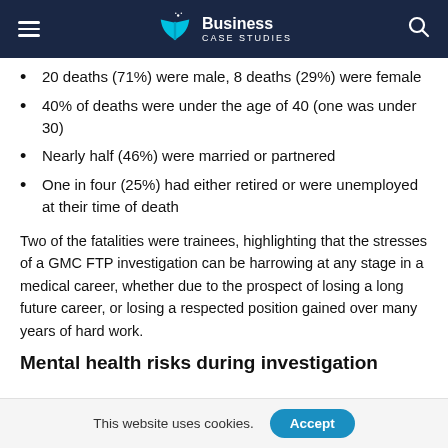Business Case Studies
20 deaths (71%) were male, 8 deaths (29%) were female
40% of deaths were under the age of 40 (one was under 30)
Nearly half (46%) were married or partnered
One in four (25%) had either retired or were unemployed at their time of death
Two of the fatalities were trainees, highlighting that the stresses of a GMC FTP investigation can be harrowing at any stage in a medical career, whether due to the prospect of losing a long future career, or losing a respected position gained over many years of hard work.
Mental health risks during investigation